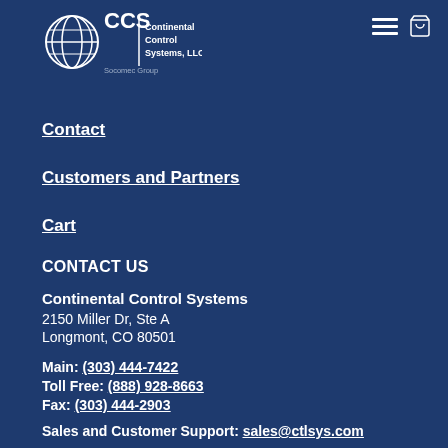[Figure (logo): CCS Continental Control Systems, LLC logo with globe icon and Socomec Group text]
Contact
Customers and Partners
Cart
CONTACT US
Continental Control Systems
2150 Miller Dr, Ste A
Longmont, CO 80501
Main: (303) 444-7422
Toll Free: (888) 928-8663
Fax: (303) 444-2903
Sales and Customer Support: sales@ctlsys.com